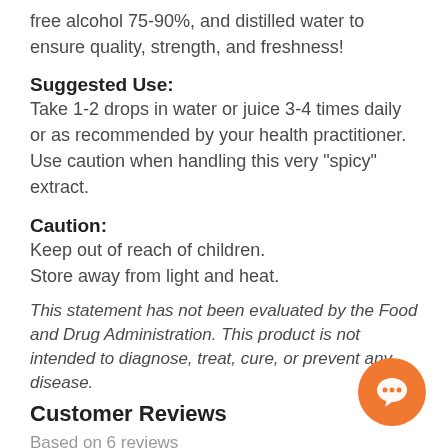free alcohol 75-90%, and distilled water to ensure quality, strength, and freshness!
Suggested Use:
Take 1-2 drops in water or juice 3-4 times daily or as recommended by your health practitioner. Use caution when handling this very "spicy" extract.
Caution:
Keep out of reach of children.
Store away from light and heat.
This statement has not been evaluated by the Food and Drug Administration. This product is not intended to diagnose, treat, cure, or prevent any disease.
Customer Reviews
Based on 6 reviews